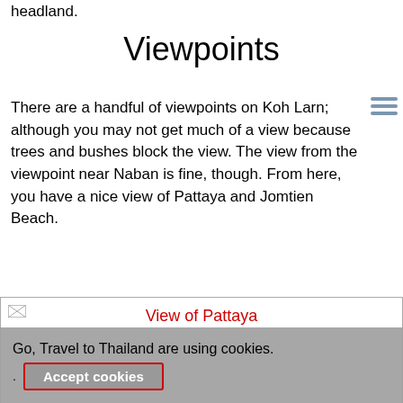headland.
Viewpoints
There are a handful of viewpoints on Koh Larn; although you may not get much of a view because trees and bushes block the view. The view from the viewpoint near Naban is fine, though. From here, you have a nice view of Pattaya and Jomtien Beach.
[Figure (photo): Image placeholder showing 'View of Pattaya' caption in red text, image not loaded]
View of Pattaya
Go, Travel to Thailand are using cookies.
Accept cookies